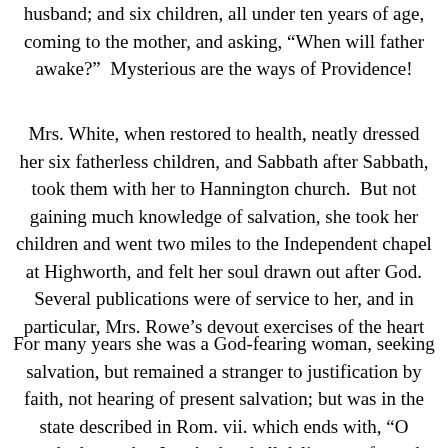husband; and six children, all under ten years of age, coming to the mother, and asking, “When will father awake?”  Mysterious are the ways of Providence!
Mrs. White, when restored to health, neatly dressed her six fatherless children, and Sabbath after Sabbath, took them with her to Hannington church.  But not gaining much knowledge of salvation, she took her children and went two miles to the Independent chapel at Highworth, and felt her soul drawn out after God.  Several publications were of service to her, and in particular, Mrs. Rowe’s devout exercises of the heart
For many years she was a God-fearing woman, seeking salvation, but remained a stranger to justification by faith, not hearing of present salvation; but was in the state described in Rom. vii. which ends with, “O wretched man that I am! who shall deliver me from the body of this